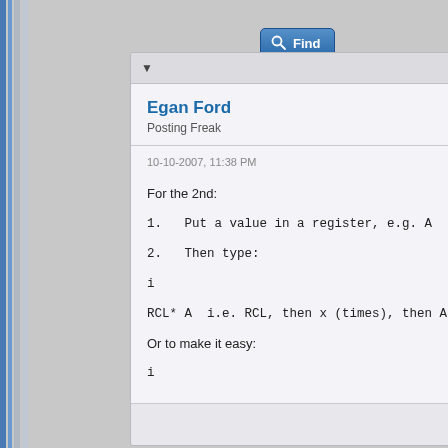[Figure (screenshot): Find button with magnifying glass icon, blue rounded rectangle button]
▼
Egan Ford
Posting Freak
10-10-2007, 11:38 PM
For the 2nd:
1.   Put a value in a register, e.g. A
2.   Then type:
i
RCL* A  i.e. RCL, then x (times), then A, a
Or to make it easy:
i